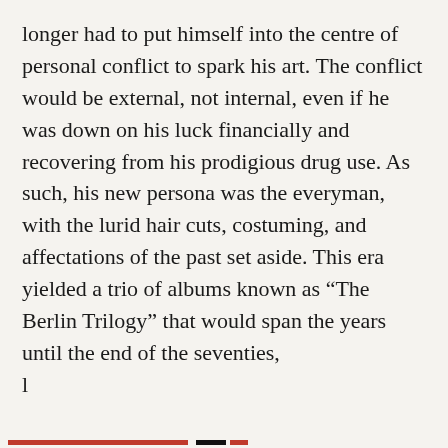longer had to put himself into the centre of personal conflict to spark his art. The conflict would be external, not internal, even if he was down on his luck financially and recovering from his prodigious drug use. As such, his new persona was the everyman, with the lurid hair cuts, costuming, and affectations of the past set aside. This era yielded a trio of albums known as “The Berlin Trilogy” that would span the years until the end of the seventies, l
Privacy & Cookies: This site uses cookies. By continuing to use this website, you agree to their use.
To find out more, including how to control cookies, see here: Cookie Policy
Close and accept